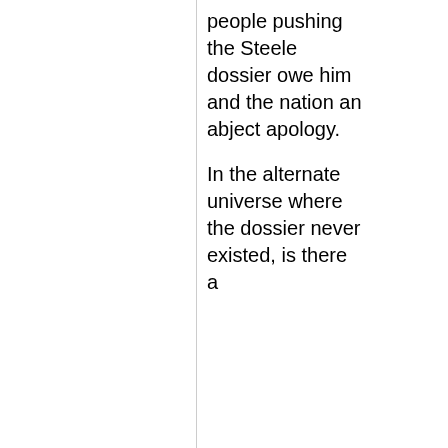people pushing the Steele dossier owe him and the nation an abject apology.
In the alternate universe where the dossier never existed, is there a